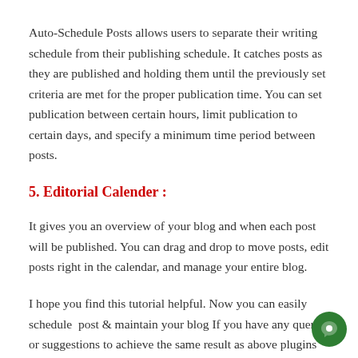Auto-Schedule Posts allows users to separate their writing schedule from their publishing schedule. It catches posts as they are published and holding them until the previously set criteria are met for the proper publication time. You can set publication between certain hours, limit publication to certain days, and specify a minimum time period between posts.
5. Editorial Calender :
It gives you an overview of your blog and when each post will be published. You can drag and drop to move posts, edit posts right in the calendar, and manage your entire blog.
I hope you find this tutorial helpful. Now you can easily schedule  post & maintain your blog If you have any query or suggestions to achieve the same result as above plugins